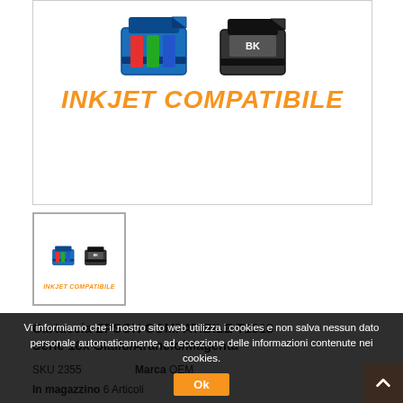[Figure (illustration): Inkjet compatible cartridge illustration showing a color cartridge and a black cartridge with 'INKJET COMPATIBILE' text in orange italic below them]
[Figure (illustration): Thumbnail of inkjet compatible cartridge product image, smaller version]
Cartuccia EPSON COMPATIBILE T1813 Serie 18x Giallo/Arancio/Magenta
SKU 2355   Marca OEM
In magazzino 6 Articoli
Vi informiamo che il nostro sito web utilizza i cookies e non salva nessun dato personale automaticamente, ad eccezione delle informazioni contenute nei cookies.